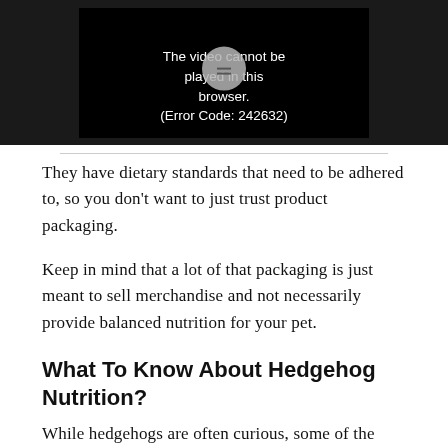[Figure (screenshot): Video player showing error message: 'The video cannot be played in this browser. (Error Code: 242632)' on a dark background with a circular play button overlay.]
They have dietary standards that need to be adhered to, so you don't want to just trust product packaging.
Keep in mind that a lot of that packaging is just meant to sell merchandise and not necessarily provide balanced nutrition for your pet.
What To Know About Hedgehog Nutrition?
While hedgehogs are often curious, some of the